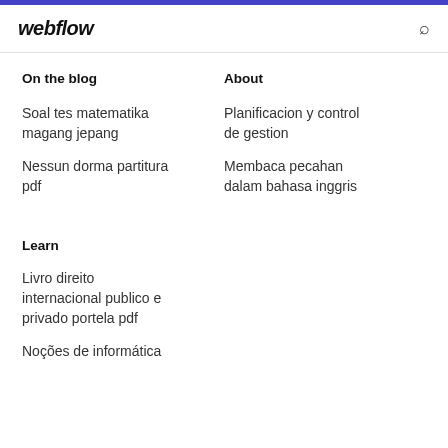webflow
On the blog
About
Soal tes matematika magang jepang
Planificacion y control de gestion
Nessun dorma partitura pdf
Membaca pecahan dalam bahasa inggris
Learn
Livro direito internacional publico e privado portela pdf
Noções de informática